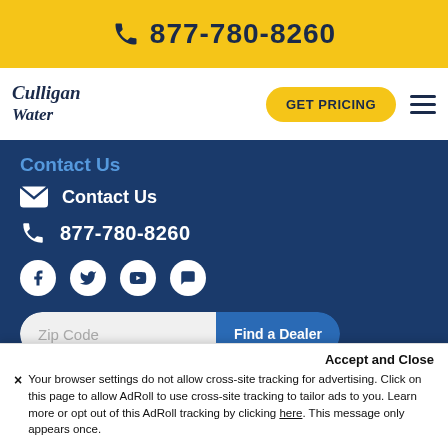877-780-8260
[Figure (logo): Culligan Water logo in cursive navy text]
GET PRICING
Contact Us
Contact Us
877-780-8260
[Figure (infographic): Social media icons: Facebook, Twitter, YouTube, Chat]
Zip Code  Find a Dealer
© 2022 Culligan. All Rights Reserved
Accept and Close
× Your browser settings do not allow cross-site tracking for advertising. Click on this page to allow AdRoll to use cross-site tracking to tailor ads to you. Learn more or opt out of this AdRoll tracking by clicking here. This message only appears once.